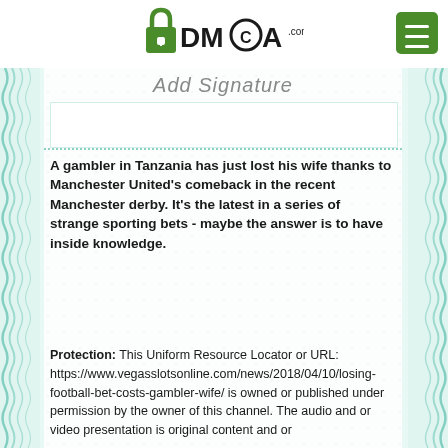[Figure (logo): DMCA.com logo with padlock icon and circular C mark]
[Figure (other): Green menu/hamburger button in top right corner]
Add Signature
A gambler in Tanzania has just lost his wife thanks to Manchester United's comeback in the recent Manchester derby. It's the latest in a series of strange sporting bets - maybe the answer is to have inside knowledge.
Protection: This Uniform Resource Locator or URL: https://www.vegasslotsonline.com/news/2018/04/10/losing-football-bet-costs-gambler-wife/ is owned or published under permission by the owner of this channel. The audio and or video presentation is original content and or